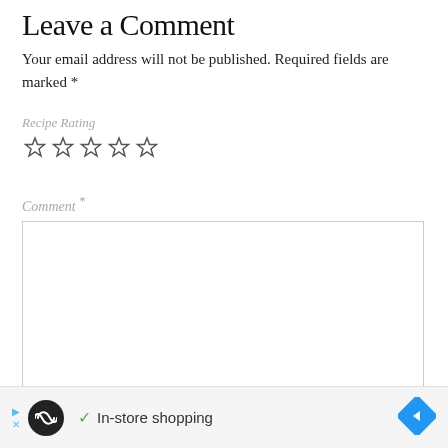Leave a Comment
Your email address will not be published. Required fields are marked *
Recipe Rating
[Figure (other): Five empty star rating icons]
Comment *
[Figure (other): Empty comment text area input box]
[Figure (other): Advertisement bar at bottom: circular logo with infinity symbol, play and X icons, checkmark, 'In-store shopping' text, blue diamond navigation icon]